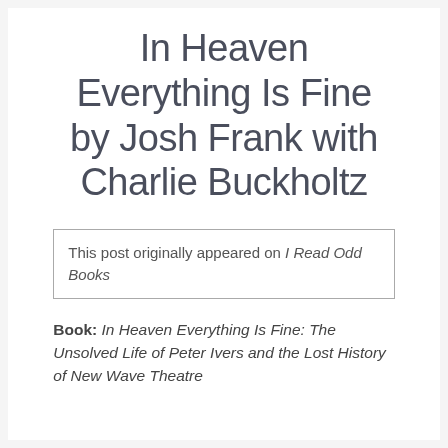In Heaven Everything Is Fine by Josh Frank with Charlie Buckholtz
This post originally appeared on I Read Odd Books
Book: In Heaven Everything Is Fine: The Unsolved Life of Peter Ivers and the Lost History of New Wave Theatre